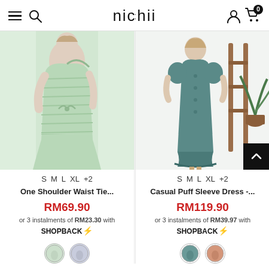nichii — navigation header with hamburger menu, search, user icon, cart (0)
[Figure (photo): Model wearing a light mint green one-shoulder waist tie dress with bow detail]
S  M  L  XL  +2
One Shoulder Waist Tie...
RM69.90
or 3 instalments of RM23.30 with SHOPBACK⚡
[Figure (photo): Model wearing a teal casual puff sleeve button-up dress with ruffled hem]
S  M  L  XL  +2
Casual Puff Sleeve Dress -...
RM119.90
or 3 instalments of RM39.97 with SHOPBACK⚡
Showing 83 of 133